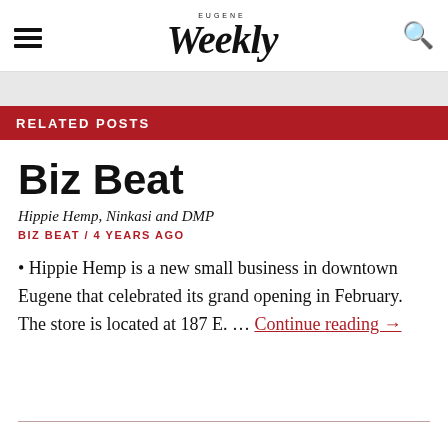Eugene Weekly
RELATED POSTS
Biz Beat
Hippie Hemp, Ninkasi and DMP
BIZ BEAT / 4 YEARS AGO
• Hippie Hemp is a new small business in downtown Eugene that celebrated its grand opening in February. The store is located at 187 E. … Continue reading →